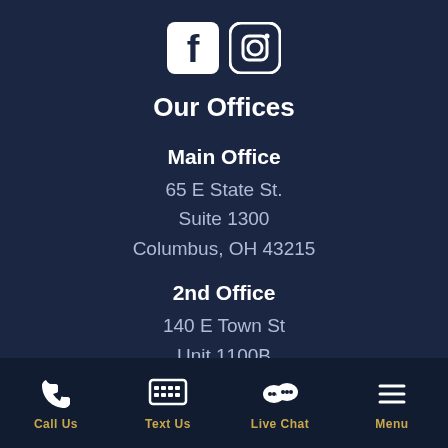[Figure (logo): Facebook and Instagram social media icons (white on dark background)]
Our Offices
Main Office
65 E State St.
Suite 1300
Columbus, OH 43215
2nd Office
140 E Town St
Unit 1100B
Columbus OH 43215
Call Us   Text Us   Live Chat   Menu